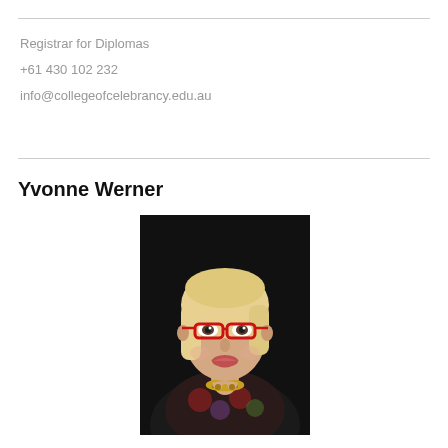Registrar for Diplomas
+61 430 102 232
info@collegeofcelebrancy.edu.au
Yvonne Werner
[Figure (photo): Professional headshot of Yvonne Werner, a woman with short blonde hair wearing red-framed glasses and a floral top, smiling against a dark background.]